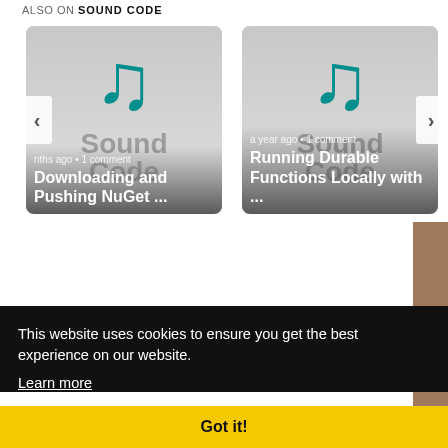ALSO ON SOUND CODE
[Figure (screenshot): Card showing Sound Code logo with music note icon and teal braces. Text: 'nths ago • 1 comment' and title 'Downloading and Pushing NuGet ...']
[Figure (screenshot): Card showing Sound Code logo with music note icon and teal braces. Text: 'a year ago • 1 comment' and title 'Running Durable Functions Locally with ...']
This website uses cookies to ensure you get the best experience on our website. Learn more
Got it!